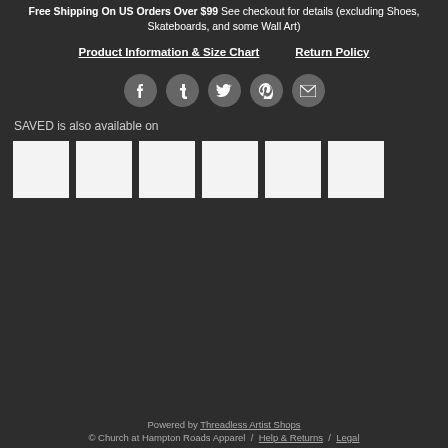Free Shipping On US Orders Over $99 See checkout for details (excluding Shoes, Skateboards, and some Wall Art)
Product Information & Size Chart    Return Policy
[Figure (infographic): Row of five circular social media icons: Facebook, Tumblr, Twitter, Pinterest, Email]
SAVED is also available on
[Figure (infographic): Six white square product thumbnail placeholders in a row]
Powered by Threadless Artist Shops © Church at Hampton Roads Apparel / Help & Returns / Legal